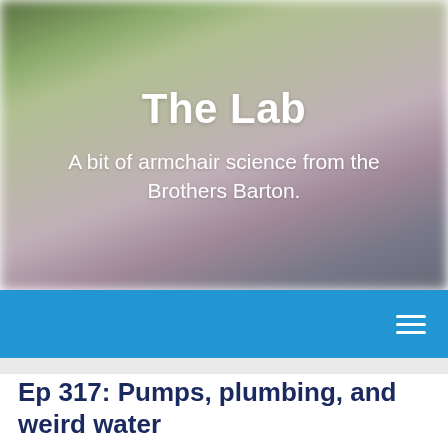The Lab
A bit of armchair science from the Brothers Barton.
[Figure (screenshot): Blue navigation bar with hamburger menu icon on the right]
Ep 317: Pumps, plumbing, and weird water
September 23, 2021   Uncategorized   thelabwithbradbarton
[Figure (screenshot): Audio player with play button, 00:00 timestamp, progress bar, and 00:00 end time]
Podcast: Play in new window | Download (Duration: